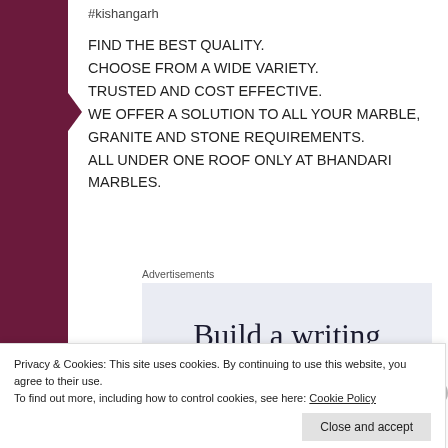#kishangarh
FIND THE BEST QUALITY.
CHOOSE FROM A WIDE VARIETY.
TRUSTED AND COST EFFECTIVE.
WE OFFER A SOLUTION TO ALL YOUR MARBLE, GRANITE AND STONE REQUIREMENTS.
ALL UNDER ONE ROOF ONLY AT BHANDARI MARBLES.
Advertisements
[Figure (other): Advertisement banner showing text 'Build a writing habit. Post on']
Privacy & Cookies: This site uses cookies. By continuing to use this website, you agree to their use.
To find out more, including how to control cookies, see here: Cookie Policy
Close and accept